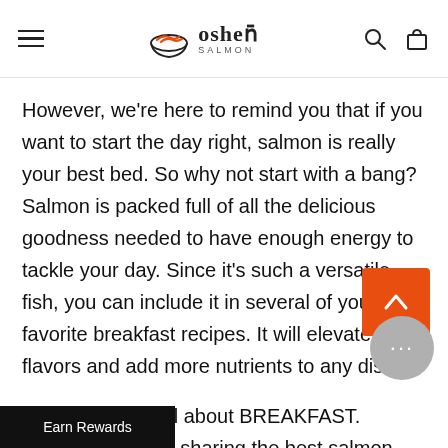oshen SALMON
However, we're here to remind you that if you want to start the day right, salmon is really your best bed. So why not start with a bang? Salmon is packed full of all the delicious goodness needed to have enough energy to tackle your day. Since it's such a versatile fish, you can include it in several of your favorite breakfast recipes. It will elevate the flavors and add more nutrients to any dish!
Today's post is all about BREAKFAST. Specifically we're sharing the best salmon breakfast ideas...n you can also use them as brunch recipes for unday Funday, or even a chill, lazy Sunday